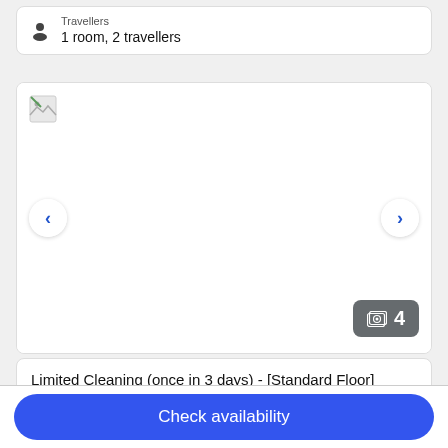Travellers
1 room, 2 travellers
[Figure (screenshot): Hotel room image carousel with broken image placeholder, left/right navigation arrows, and a photo count badge showing '4']
Limited Cleaning (once in 3 days) - [Standard Floor] Single Room 15sqm (Bed Size 140cm wide x 1)
167 sq ft
Check availability